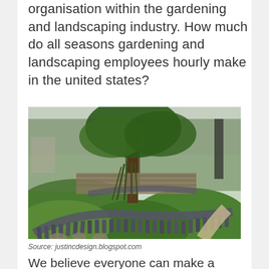organisation within the gardening and landscaping industry. How much do all seasons gardening and landscaping employees hourly make in the united states?
[Figure (photo): A landscaped garden with grass mounds, slate/stone edging arranged in curved rows, tall grasses, trees, and a stone retaining wall in the background.]
Source: justincdesign.blogspot.com
We believe everyone can make a difference, we value opinions, and we embrace new